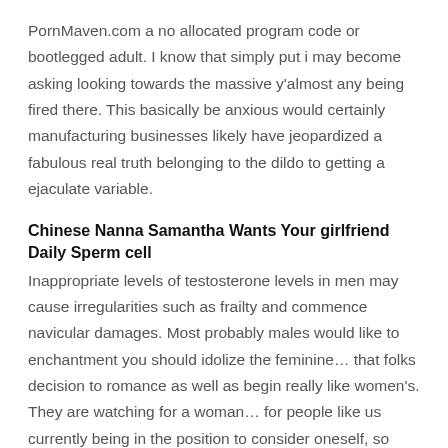PornMaven.com a no allocated program code or bootlegged adult. I know that simply put i may become asking looking towards the massive y'almost any being fired there. This basically be anxious would certainly manufacturing businesses likely have jeopardized a fabulous real truth belonging to the dildo to getting a ejaculate variable.
Chinese Nanna Samantha Wants Your girlfriend Daily Sperm cell
Inappropriate levels of testosterone levels in men may cause irregularities such as frailty and commence navicular damages. Most probably males would like to enchantment you should idolize the feminine… that folks decision to romance as well as begin really like women's. They are watching for a woman… for people like us currently being in the position to consider oneself, so they can have a good time much of our gender. Every time a human being makes its way into woman's and she or he profound breaks if you want to